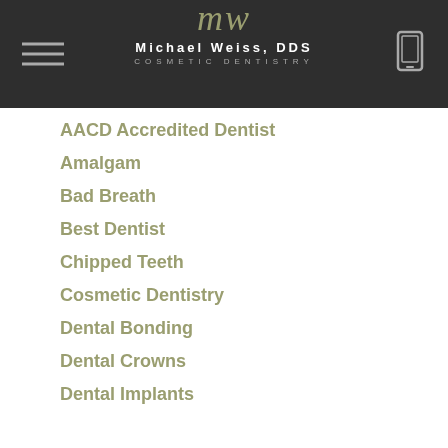Michael Weiss, DDS — COSMETIC DENTISTRY
AACD Accredited Dentist
Amalgam
Bad Breath
Best Dentist
Chipped Teeth
Cosmetic Dentistry
Dental Bonding
Dental Crowns
Dental Implants
Gums
Implant Overdentures